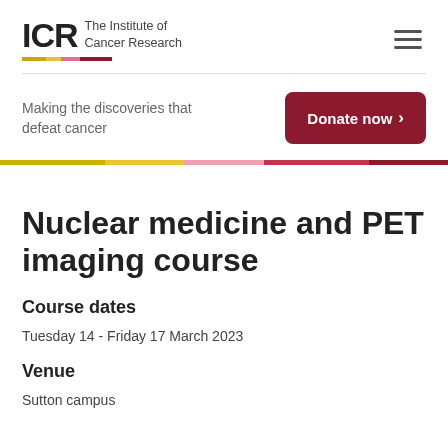ICR The Institute of Cancer Research
Making the discoveries that defeat cancer
Donate now ›
Nuclear medicine and PET imaging course
Course dates
Tuesday 14 - Friday 17 March 2023
Venue
Sutton campus